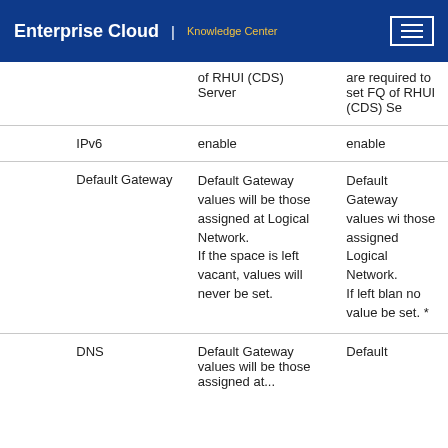Enterprise Cloud | Knowledge Center
|  |  | Description | Value |
| --- | --- | --- | --- |
|  | of RHUI (CDS) Server |  | are required to set FQDN of RHUI (CDS) Se... |
|  | IPv6 | enable | enable |
|  | Default Gateway | Default Gateway values will be those assigned at Logical Network.
If the space is left vacant, values will never be set. | Default Gateway values will be those assigned at Logical Network.
If left blank, no value will be set. * ... |
|  | DNS | Default Gateway values will be those assigned at... | Default... |